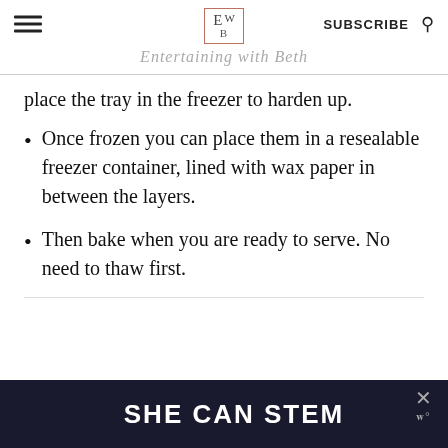Entertaining with Beth
place the tray in the freezer to harden up.
Once frozen you can place them in a resealable freezer container, lined with wax paper in between the layers.
Then bake when you are ready to serve. No need to thaw first.
SHE CAN STEM